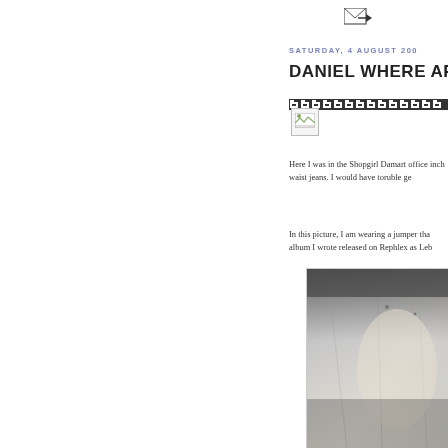[Figure (other): Email/forward icon button in top right area]
SATURDAY, 4 AUGUST 200
DANIEL WHERE AR
[Figure (other): Greek key decorative border pattern]
[Figure (other): Broken/loading image placeholder icon]
Here I was in the Shopgirl Damart office inch waist jeans. I would have toruble ge
In this picture, I am wearing a jumper tha album I wrote released on Rephlex as Leb
[Figure (photo): Black and white photograph showing what appears to be a room interior or hallway with light and shadow]